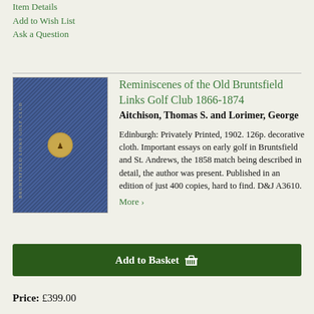Item Details
Add to Wish List
Ask a Question
Reminiscenes of the Old Bruntsfield Links Golf Club 1866-1874
Aitchison, Thomas S. and Lorimer, George
Edinburgh: Privately Printed, 1902. 126p. decorative cloth. Important essays on early golf in Bruntsfield and St. Andrews, the 1858 match being described in detail, the author was present. Published in an edition of just 400 copies, hard to find. D&J A3610.
More >
Add to Basket
Price: £399.00